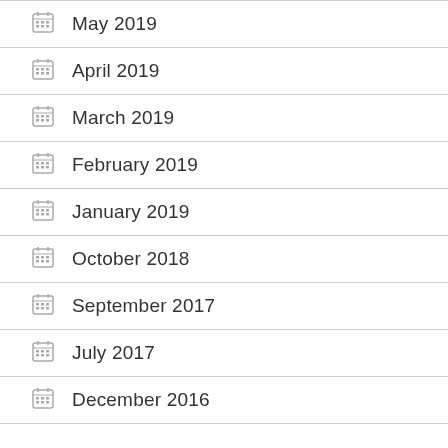May 2019
April 2019
March 2019
February 2019
January 2019
October 2018
September 2017
July 2017
December 2016